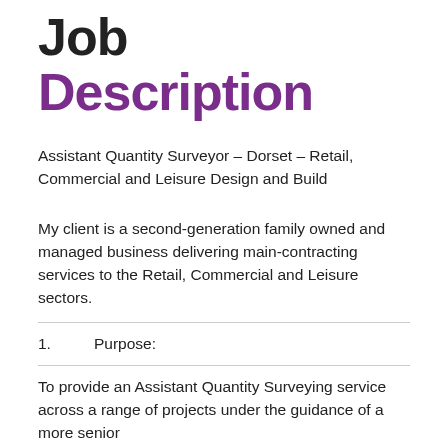Job Description
Assistant Quantity Surveyor – Dorset – Retail, Commercial and Leisure Design and Build
My client is a second-generation family owned and managed business delivering main-contracting services to the Retail, Commercial and Leisure sectors.
1.          Purpose:
To provide an Assistant Quantity Surveying service across a range of projects under the guidance of a more senior